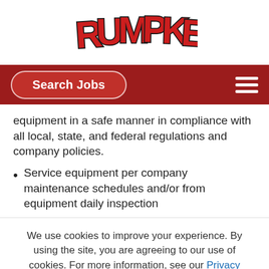[Figure (logo): Rumpke logo in red with black outline block letters]
[Figure (screenshot): Dark red navigation bar with 'Search Jobs' pill button on left and hamburger menu icon on right]
equipment in a safe manner in compliance with all local, state, and federal regulations and company policies.
Service equipment per company maintenance schedules and/or from equipment daily inspection
We use cookies to improve your experience. By using the site, you are agreeing to our use of cookies. For more information, see our Privacy Policy
Accept